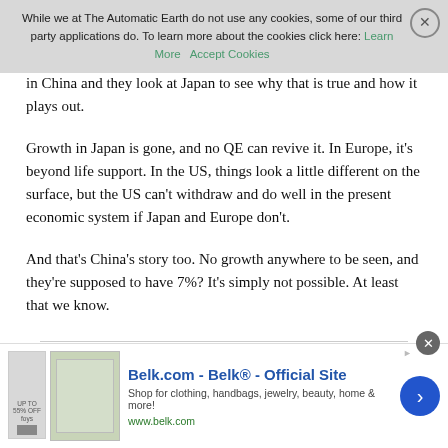While we at The Automatic Earth do not use any cookies, some of our third party applications do. To learn more about the cookies click here: Learn More  Accept Cookies
in China and … look at Japan to see why that is true and how it plays out.
Growth in Japan is gone, and no QE can revive it. In Europe, it’s beyond life support. In the US, things look a little different on the surface, but the US can't withdraw and do well in the present economic system if Japan and Europe don’t.
And that’s China’s story too. No growth anywhere to be seen, and they’re supposed to have 7%? It’s simply not possible. At least that we know.
[Figure (other): Advertisement banner for Belk.com - Belk Official Site. Shows product images, text 'Shop for clothing, handbags, jewelry, beauty, home & more!' and URL www.belk.com]